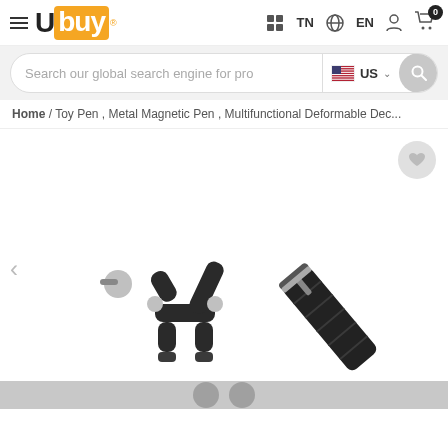Ubuy — TN | EN | account | cart (0)
Search our global search engine for pro   US
Home / Toy Pen , Metal Magnetic Pen , Multifunctional Deformable Dec...
[Figure (photo): Product photo showing a metal magnetic pen deformed into an animal shape (left) and as a cylindrical pen (right) against a white background.]